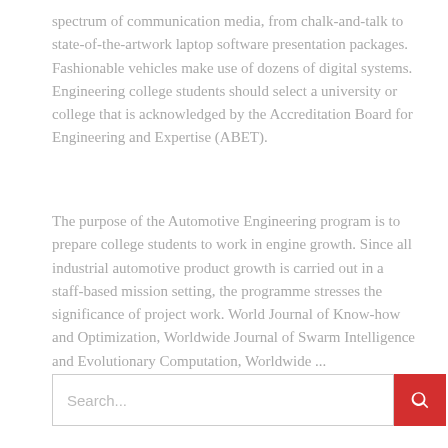spectrum of communication media, from chalk-and-talk to state-of-the-artwork laptop software presentation packages. Fashionable vehicles make use of dozens of digital systems. Engineering college students should select a university or college that is acknowledged by the Accreditation Board for Engineering and Expertise (ABET).
The purpose of the Automotive Engineering program is to prepare college students to work in engine growth. Since all industrial automotive product growth is carried out in a staff-based mission setting, the programme stresses the significance of project work. World Journal of Know-how and Optimization, Worldwide Journal of Swarm Intelligence and Evolutionary Computation, Worldwide ...
Posted in car manufactures   Tagged advances, technology, vehicular
[Figure (other): Search input box with red search button containing a magnifying glass icon]